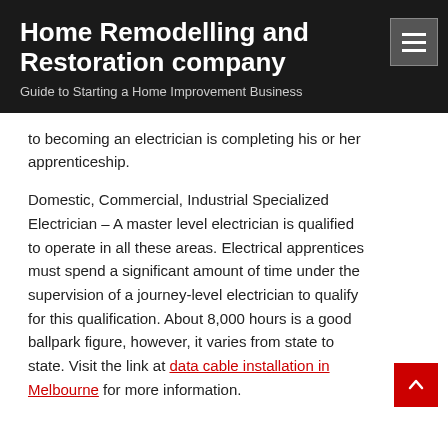Home Remodelling and Restoration company
Guide to Starting a Home Improvement Business
to becoming an electrician is completing his or her apprenticeship.
Domestic, Commercial, Industrial Specialized Electrician – A master level electrician is qualified to operate in all these areas. Electrical apprentices must spend a significant amount of time under the supervision of a journey-level electrician to qualify for this qualification. About 8,000 hours is a good ballpark figure, however, it varies from state to state. Visit the link at data cable installation in Melbourne for more information.